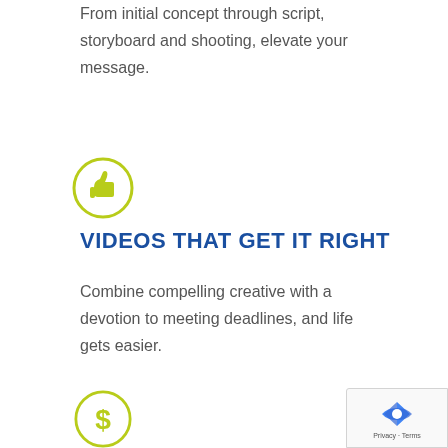From initial concept through script, storyboard and shooting, elevate your message.
[Figure (illustration): Thumbs-up icon inside a yellow-green circle outline]
VIDEOS THAT GET IT RIGHT
Combine compelling creative with a devotion to meeting deadlines, and life gets easier.
[Figure (illustration): Dollar sign icon inside a yellow-green circle outline (partially visible at bottom)]